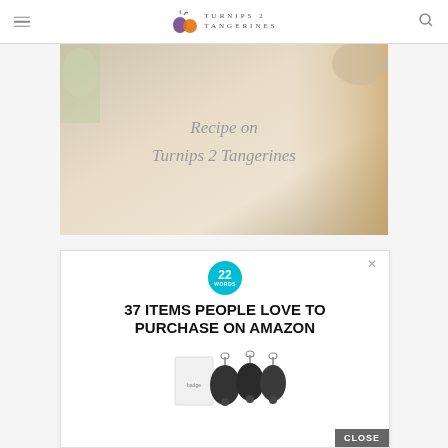Turnips 2 Tangerines
[Figure (photo): Food/recipe styled photo with text overlay reading 'Recipe on Turnips 2 Tangerines' in cursive italic script on a light background with floral and natural elements]
[Figure (infographic): Advertisement overlay: '22 Words' badge in teal circle, headline '37 ITEMS PEOPLE LOVE TO PURCHASE ON AMAZON', product photo of badge reels/retractable badge holders, with CLOSE button in bottom right]